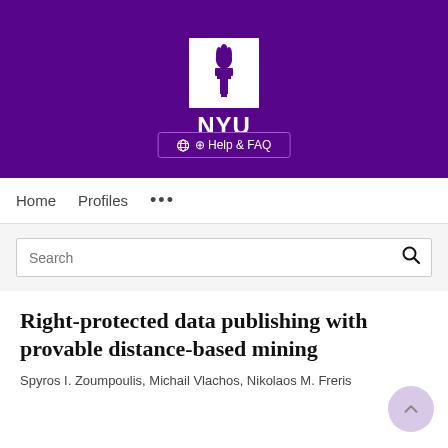[Figure (logo): NYU (New York University) logo on purple background with torch icon in white box and NYU text below]
[Figure (other): Help & FAQ button with globe icon on purple background]
Home   Profiles   ...
Search
Right-protected data publishing with provable distance-based mining
Spyros I. Zoumpoulis, Michail Vlachos, Nikolaos M. Freris